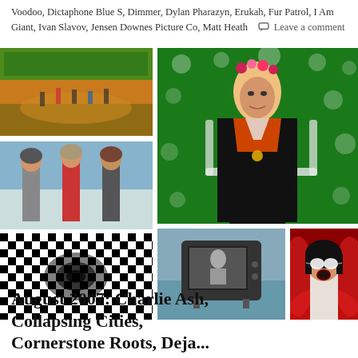Voodoo, Dictaphone Blue S, Dimmer, Dylan Pharazyn, Erukah, Fur Patrol, I Am Giant, Ivan Slavov, Jensen Downes Picture Co, Matt Heath  💬 Leave a comment
[Figure (photo): Grid of 5 photos: top-left shows roller skaters on a rink, top-right shows a woman in traditional costume against green floral background, middle-left shows three young men standing together, bottom-left shows black and white optical illusion checkerboard pattern, bottom-center shows an old CRT television set outdoors, bottom-right shows a performer with white sunglasses and black hair against red background]
August 2007: Charlie Ash, Collapsing Cities, Cornerstone Roots, Deja...